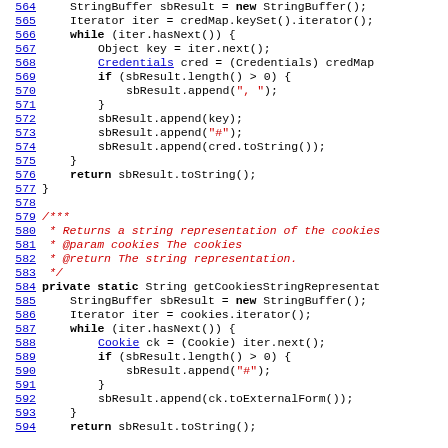Source code listing lines 564-594, Java code showing credential and cookie string representation methods
564: StringBuffer sbResult = new StringBuffer();
565: Iterator iter = credMap.keySet().iterator();
566: while (iter.hasNext()) {
567:     Object key = iter.next();
568:     Credentials cred = (Credentials) credMap
569:     if (sbResult.length() > 0) {
570:         sbResult.append(", ");
571:     }
572:     sbResult.append(key);
573:     sbResult.append("#");
574:     sbResult.append(cred.toString());
575: }
576:     return sbResult.toString();
577: }
578:
579: /***
580:  * Returns a string representation of the cookies
581:  * @param cookies The cookies
582:  * @return The string representation.
583:  */
584: private static String getCookiesStringRepresenta
585:     StringBuffer sbResult = new StringBuffer();
586:     Iterator iter = cookies.iterator();
587:     while (iter.hasNext()) {
588:         Cookie ck = (Cookie) iter.next();
589:         if (sbResult.length() > 0) {
590:             sbResult.append("#");
591:         }
592:         sbResult.append(ck.toExternalForm());
593:     }
594:     return sbResult.toString();